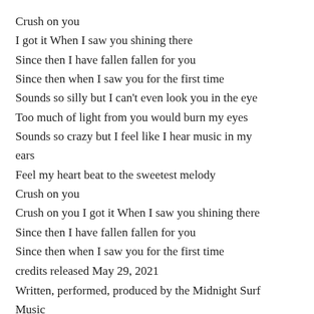Crush on you
I got it When I saw you shining there
Since then I have fallen fallen for you
Since then when I saw you for the first time
Sounds so silly but I can’t even look you in the eye
Too much of light from you would burn my eyes
Sounds so crazy but I feel like I hear music in my ears
Feel my heart beat to the sweetest melody
Crush on you
Crush on you I got it When I saw you shining there
Since then I have fallen fallen for you
Since then when I saw you for the first time
credits released May 29, 2021
Written, performed, produced by the Midnight Surf Music
ဃ3ဃ3ဃ3! က ကက
https://midnightsurfmusic.bandcamp.com/track/crus